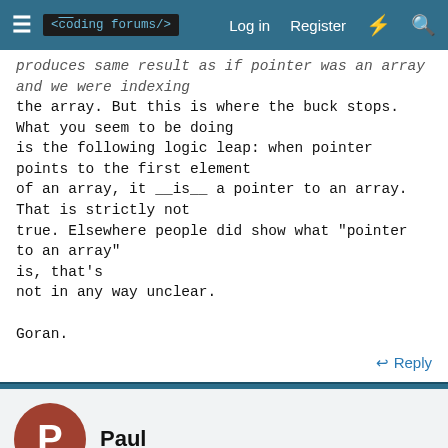<coding forums/>  Log in  Register
produces same result as if pointer was an array and we were indexing
the array. But this is where the buck stops. What you seem to be doing
is the following logic leap: when pointer points to the first element
of an array, it __is__ a pointer to an array. That is strictly not
true. Elsewhere people did show what "pointer to an array"
is, that's
not in any way unclear.

Goran.
Reply
Paul
Mar 25, 2011   #14